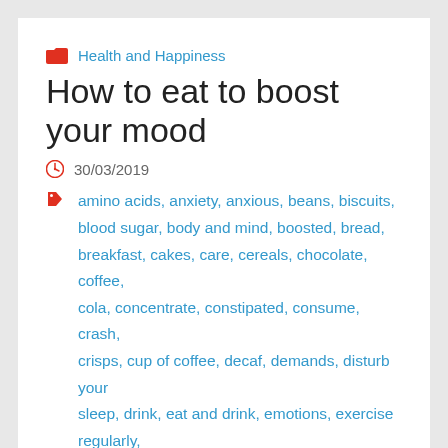Health and Happiness
How to eat to boost your mood
30/03/2019
amino acids, anxiety, anxious, beans, biscuits, blood sugar, body and mind, boosted, bread, breakfast, cakes, care, cereals, chocolate, coffee, cola, concentrate, constipated, consume, crash, crisps, cup of coffee, decaf, demands, disturb your sleep, drink, eat and drink, emotions, exercise regularly, family and friends, fast food, feel good chemicals, five a day, fizzy drinks, fresh, fresh fruits and vegetables, frozen, GP, gut, H20, headaches, healthy digestion, healthy gut foods, healthy snacks, herbal tea, irritable,